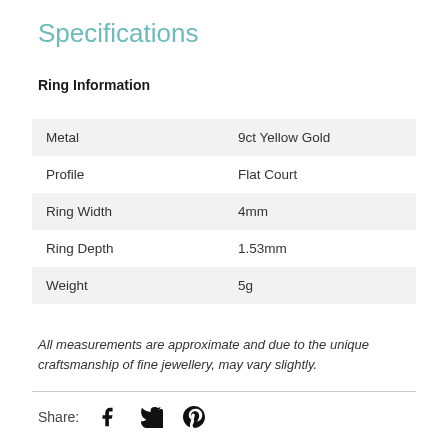Specifications
Ring Information
| Metal | 9ct Yellow Gold |
| Profile | Flat Court |
| Ring Width | 4mm |
| Ring Depth | 1.53mm |
| Weight | 5g |
All measurements are approximate and due to the unique craftsmanship of fine jewellery, may vary slightly.
Share: [Facebook] [Twitter] [Pinterest]